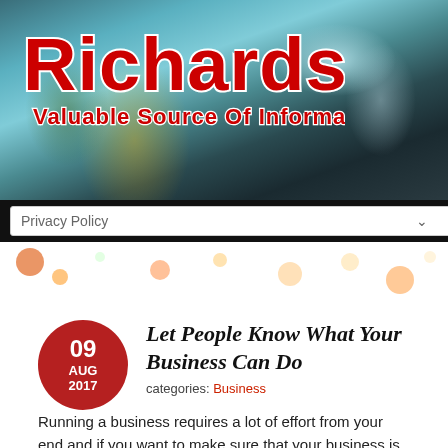[Figure (illustration): Website header background: blurred city street photo at dusk with buildings, traffic lights, and bokeh lights in blues and greens]
RichardsF1
Valuable Source Of Information
Privacy Policy
[Figure (photo): Blurred city street scene with colorful bokeh lights in warm oranges and yellows]
Let People Know What Your Business Can Do
categories: Business
Running a business requires a lot of effort from your end and if you want to make sure that your business is a successful one then one of the main factors that you need to focus on are